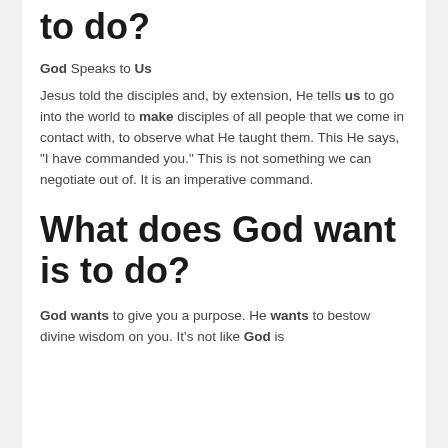to do?
God Speaks to Us
Jesus told the disciples and, by extension, He tells us to go into the world to make disciples of all people that we come in contact with, to observe what He taught them. This He says, "I have commanded you." This is not something we can negotiate out of. It is an imperative command.
What does God want is to do?
God wants to give you a purpose. He wants to bestow divine wisdom on you. It's not like God is